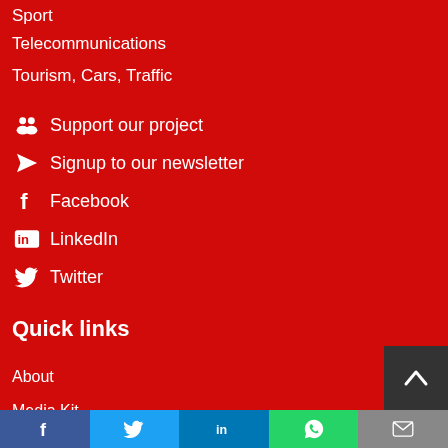Sport
Telecommunications
Tourism, Cars, Traffic
Support our project
Signup to our newsletter
Facebook
LinkedIn
Twitter
Quick links
About
Media Kit
Contact Us